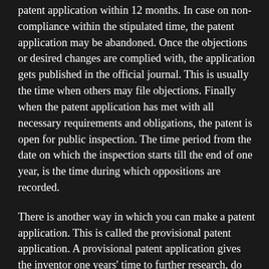patent application within 12 months. In case on non-compliance within the stipulated time, the patent application may be abandoned. Once the objections or desired changes are complied with, the application gets published in the official journal. This is usually the time when others may file objections. Finally when the patent application has met with all necessary requirements and obligations, the patent is open for public inspection. The time period from the date on which the inspection starts till the end of one year, is the time during which oppositions are recorded.
There is another way in which you can make a patent application. This is called the provisional patent application. A provisional patent application gives the inventor one years' time to further research, do modifications, etc, before filing the final application.
How this is done...